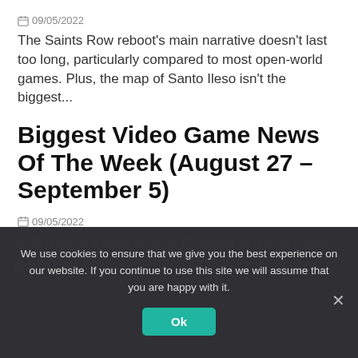09/05/2022
The Saints Row reboot's main narrative doesn't last too long, particularly compared to most open-world games. Plus, the map of Santo Ileso isn't the biggest...
Biggest Video Game News Of The Week (August 27 – September 5)
09/05/2022
Some of the biggest series in gaming have taken some significant steps forward this week. Ubisoft finally confirmed what the next Assassin's Creed will be...
We use cookies to ensure that we give you the best experience on our website. If you continue to use this site we will assume that you are happy with it.
Ok